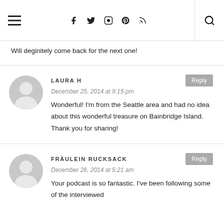Navigation header with hamburger menu, social icons (Facebook, Twitter, Instagram, Pinterest, RSS), and search icon
Will deginitely come back for the next one!
LAURA H
December 25, 2014 at 9:15 pm
Wonderful! I'm from the Seattle area and had no idea about this wonderful treasure on Bainbridge Island. Thank you for sharing!
FRÄULEIN RUCKSACK
December 26, 2014 at 5:21 am
Your podcast is so fantastic. I've been following some of the interviewed